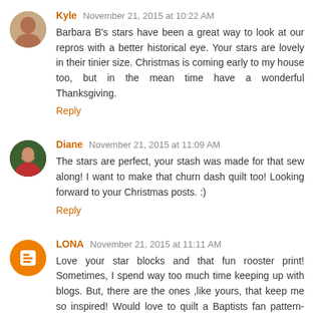Kyle November 21, 2015 at 10:22 AM
Barbara B's stars have been a great way to look at our repros with a better historical eye. Your stars are lovely in their tinier size. Christmas is coming early to my house too, but in the mean time have a wonderful Thanksgiving.
Reply
Diane November 21, 2015 at 11:09 AM
The stars are perfect, your stash was made for that sew along! I want to make that churn dash quilt too! Looking forward to your Christmas posts. :)
Reply
LONA November 21, 2015 at 11:11 AM
Love your star blocks and that fun rooster print! Sometimes, I spend way too much time keeping up with blogs. But, there are the ones ,like yours, that keep me so inspired! Would love to quilt a Baptists fan pattern- perhaps